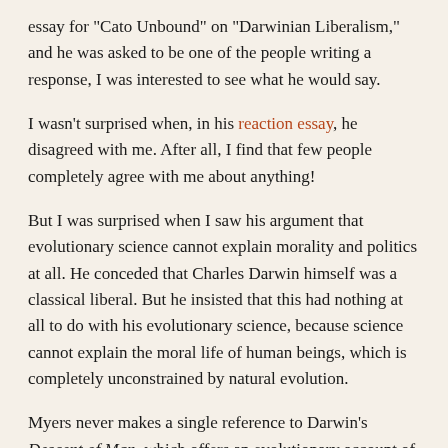essay for "Cato Unbound" on "Darwinian Liberalism," and he was asked to be one of the people writing a response, I was interested to see what he would say.
I wasn't surprised when, in his reaction essay, he disagreed with me. After all, I find that few people completely agree with me about anything!
But I was surprised when I saw his argument that evolutionary science cannot explain morality and politics at all. He conceded that Charles Darwin himself was a classical liberal. But he insisted that this had nothing at all to do with his evolutionary science, because science cannot explain the moral life of human beings, which is completely unconstrained by natural evolution.
Myers never makes a single reference to Darwin's Descent of Man, which offers an evolutionary account of human morality, and which reflects Darwin's life-long determination to develop a scientific explanation of human morality and politics. In doing this, Darwin was arguing against Alfred Russel Wallace, who claimed that although evolution by natural selection could explain the "animal nature" of human beings, it could not explain their